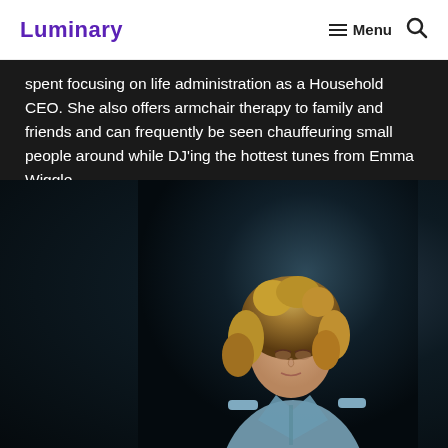Luminary | Menu
spent focusing on life administration as a Household CEO. She also offers armchair therapy to family and friends and can frequently be seen chauffeuring small people around while DJ'ing the hottest tunes from Emma Wiggle.
[Figure (photo): Portrait photo of a woman with curly blonde hair, wearing a light blue denim shirt, looking downward, photographed against a dark background.]